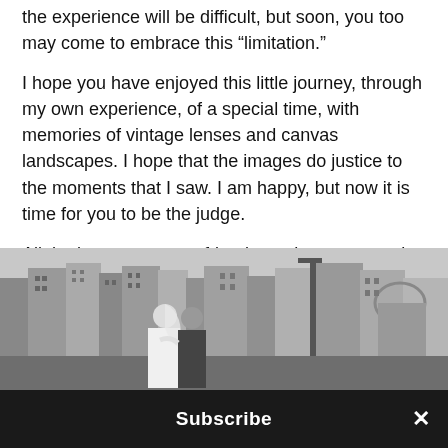the experience will be difficult, but soon, you too may come to embrace this “limitation.”
I hope you have enjoyed this little journey, through my own experience, of a special time, with memories of vintage lenses and canvas landscapes. I hope that the images do justice to the moments that I saw. I am happy, but now it is time for you to be the judge.
All the best to you, my friends, and see you again soon!
[Figure (photo): Black and white photo of a bride and groom embracing with historic European buildings (Florence Ponte Vecchio area) in the background]
Subscribe ×